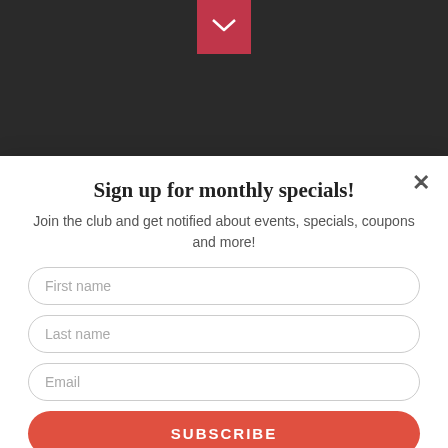[Figure (screenshot): Dark background webpage with email/envelope icon button at top center in crimson red, broken image placeholder with alt text 'Santa Eating Cookies' in red, and partial heading 'Season's Eatings!' in white serif text]
Sign up for monthly specials!
Join the club and get notified about events, specials, coupons and more!
First name
Last name
Email
SUBSCRIBE